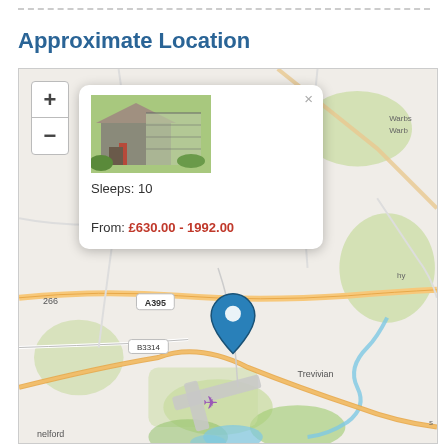Approximate Location
[Figure (map): Interactive map showing approximate location near A395 road, B3314, Trevivian area in Cornwall, UK. Blue map pin marker visible. Popup shows property image, sleeps 10, price from £630.00 - 1992.00.]